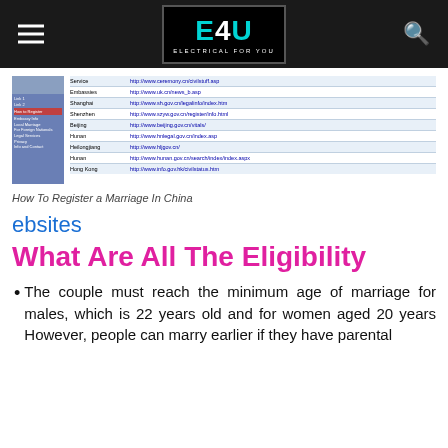E4U - Electrical For You
[Figure (screenshot): Screenshot of a webpage showing a table with website links related to registering a marriage in China, with a sidebar navigation on the left.]
How To Register a Marriage In China
ebsites
What Are All The Eligibility
The couple must reach the minimum age of marriage for males, which is 22 years old and for women aged 20 years However, people can marry earlier if they have parental